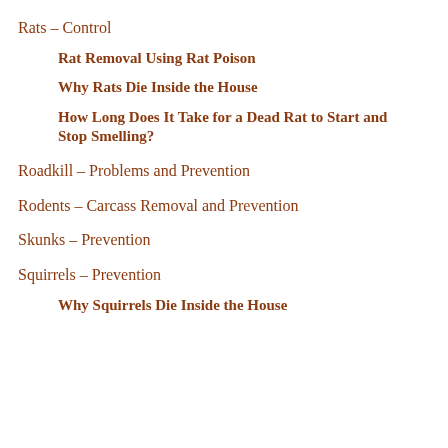Rats – Control
Rat Removal Using Rat Poison
Why Rats Die Inside the House
How Long Does It Take for a Dead Rat to Start and Stop Smelling?
Roadkill – Problems and Prevention
Rodents – Carcass Removal and Prevention
Skunks – Prevention
Squirrels – Prevention
Why Squirrels Die Inside the House